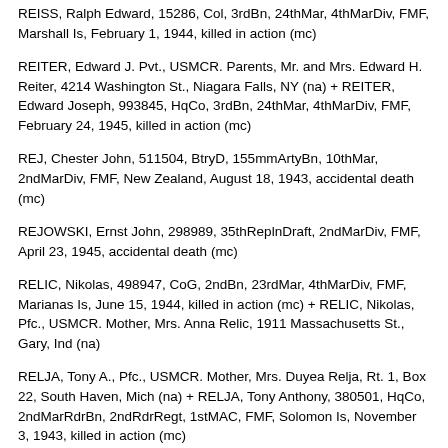REISS, Ralph Edward, 15286, Col, 3rdBn, 24thMar, 4thMarDiv, FMF, Marshall Is, February 1, 1944, killed in action (mc)
REITER, Edward J. Pvt., USMCR. Parents, Mr. and Mrs. Edward H. Reiter, 4214 Washington St., Niagara Falls, NY (na) + REITER, Edward Joseph, 993845, HqCo, 3rdBn, 24thMar, 4thMarDiv, FMF, February 24, 1945, killed in action (mc)
REJ, Chester John, 511504, BtryD, 155mmArtyBn, 10thMar, 2ndMarDiv, FMF, New Zealand, August 18, 1943, accidental death (mc)
REJOWSKI, Ernst John, 298989, 35thReplnDraft, 2ndMarDiv, FMF, April 23, 1945, accidental death (mc)
RELIC, Nikolas, 498947, CoG, 2ndBn, 23rdMar, 4thMarDiv, FMF, Marianas Is, June 15, 1944, killed in action (mc) + RELIC, Nikolas, Pfc., USMCR. Mother, Mrs. Anna Relic, 1911 Massachusetts St., Gary, Ind (na)
RELJA, Tony A., Pfc., USMCR. Mother, Mrs. Duyea Relja, Rt. 1, Box 22, South Haven, Mich (na) + RELJA, Tony Anthony, 380501, HqCo, 2ndMarRdrBn, 2ndRdrRegt, 1stMAC, FMF, Solomon Is, November 3, 1943, killed in action (mc)
REMENARIC, George L., Pfc., USMC. FAther, Mr.